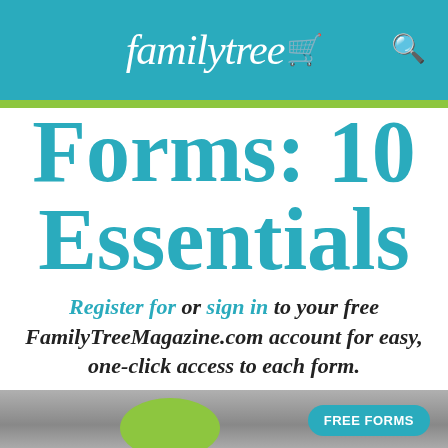familytree
Forms: 10 Essentials
Register for or sign in to your free FamilyTreeMagazine.com account for easy, one-click access to each form.
[Figure (photo): Bottom partial photo of stacked books/papers with a green oval shape, and a teal 'FREE FORMS' button overlay in bottom right]
FREE FORMS